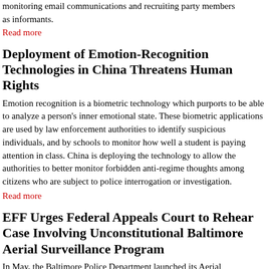monitoring email communications and recruiting party members as informants.
Read more
Deployment of Emotion-Recognition Technologies in China Threatens Human Rights
Emotion recognition is a biometric technology which purports to be able to analyze a person’s inner emotional state. These biometric applications are used by law enforcement authorities to identify suspicious individuals, and by schools to monitor how well a student is paying attention in class. China is deploying the technology to allow the authorities to better monitor forbidden anti-regime thoughts among citizens who are subject to police interrogation or investigation.
Read more
EFF Urges Federal Appeals Court to Rehear Case Involving Unconstitutional Baltimore Aerial Surveillance Program
In May, the Baltimore Police Department launched its Aerial Investigation Research (AIR) Pilot Program. For six months, three surveillance aircraft